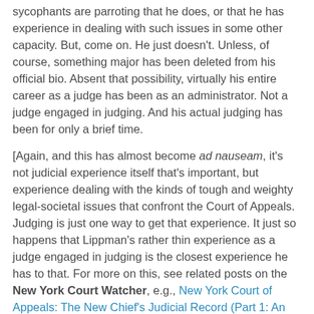sycophants are parroting that he does, or that he has experience in dealing with such issues in some other capacity. But, come on. He just doesn't. Unless, of course, something major has been deleted from his official bio. Absent that possibility, virtually his entire career as a judge has been as an administrator. Not a judge engaged in judging. And his actual judging has been for only a brief time.
[Again, and this has almost become ad nauseam, it's not judicial experience itself that's important, but experience dealing with the kinds of tough and weighty legal-societal issues that confront the Court of Appeals. Judging is just one way to get that experience. It just so happens that Lippman's rather thin experience as a judge engaged in judging is the closest experience he has to that. For more on this, see related posts on the New York Court Watcher, e.g., New York Court of Appeals: The New Chief's Judicial Record (Part 1: An Overview of Not Too Much), Jan. 21, 2009; New York Court of Appeals: This List, Past Lists, the Guv...(Part 6: The Guv's Selection & My Own Ratings), Jan. 8, 2009; and New York Court of Appeals: Memo to the Governor & the Commission [esp. points 4 & 5], Nov. 17, 2008.]